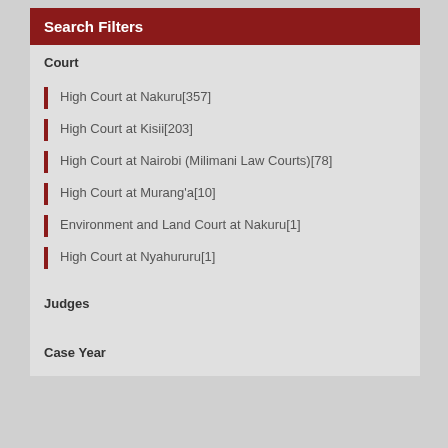Search Filters
Court
High Court at Nakuru[357]
High Court at Kisii[203]
High Court at Nairobi (Milimani Law Courts)[78]
High Court at Murang'a[10]
Environment and Land Court at Nakuru[1]
High Court at Nyahururu[1]
Judges
Case Year